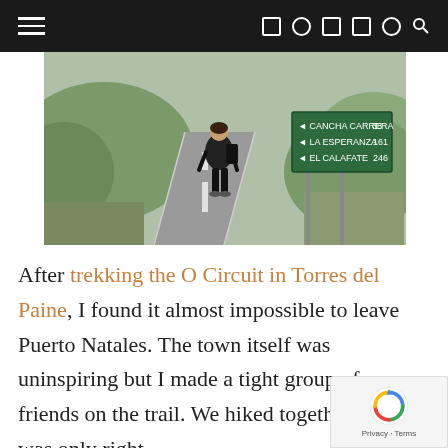Navigation bar with hamburger menu and social icons
[Figure (photo): A person with a backpack standing on a road next to a green directional road sign showing: Cancha Carrera 38, La Esperanza 161, El Calafate 246. Green hills and trees in the background.]
After trekking the O Circuit in Torres del Paine, I found it almost impossible to leave Puerto Natales. The town itself was uninspiring but I made a tight group of friends on the trail. We hiked together, so it was only right